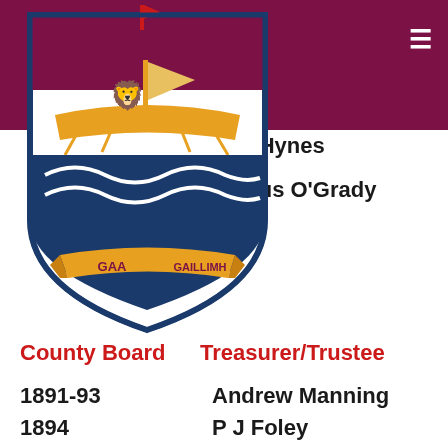[Figure (logo): Galway GAA County Board crest/shield logo with 'GAA GAILLIMH' text]
John Hynes
Seamus O'Grady
County Board
Treasurer/Trustee
1891-93  Andrew Manning
1894  P J Foley
1895  M C Shine/Ml Finnega
1896  Michael Finnegan
1897-1902  John O'Loughlin
1903-04  JJ Nestor
1905-10  John O'Loughlin
1911  P Larkin P Lardner
1912  John O'Loughlin